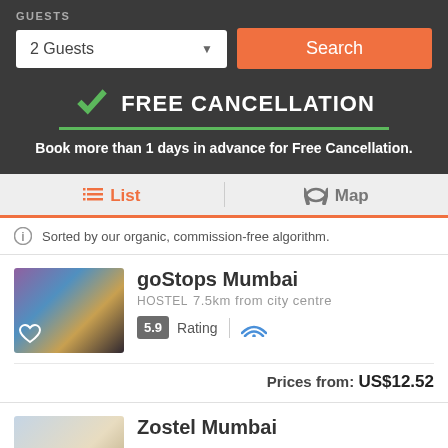GUESTS
2 Guests
Search
FREE CANCELLATION
Book more than 1 days in advance for Free Cancellation.
List
Map
Sorted by our organic, commission-free algorithm.
goStops Mumbai
HOSTEL  7.5km from city centre
5.9  Rating
Prices from:  US$12.52
Zostel Mumbai